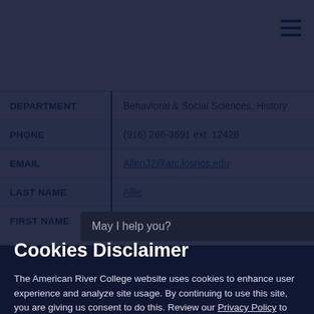| Field |  | Value |
| --- | --- | --- |
| DEPARTMENT | | | Behavioral & Social Sciences, History |
| PHONE | | | (916) 286-3691 ext. 12428 |
| EMAIL | | | AllenJ2@arc.losrios.edu |
| LAST NAME | | | Allie |
| FIRST NAME | | | Diana |
Cookies Disclaimer
The American River College website uses cookies to enhance user experience and analyze site usage. By continuing to use this site, you are giving us consent to do this. Review our Privacy Policy to learn more.
ACCEPT AND CLOSE